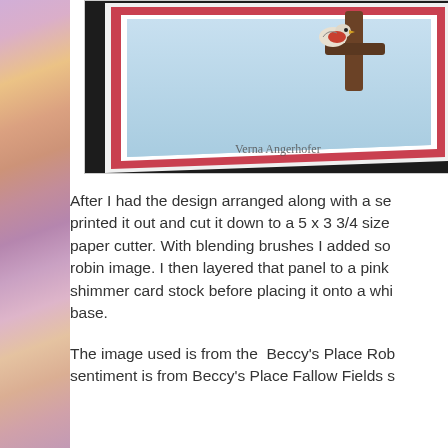[Figure (photo): A greeting card leaning against a dark background, showing a blue sky scene with a robin on a branch, framed with a pink/red border. The watermark 'Verna Angerhofer' is visible in script text at the bottom right of the card.]
After I had the design arranged along with a se... printed it out and cut it down to a 5 x 3 3/4 size... paper cutter. With blending brushes I added so... robin image. I then layered that panel to a pink... shimmer card stock before placing it onto a whi... base.
The image used is from the  Beccy's Place Rob... sentiment is from Beccy's Place Fallow Fields s...